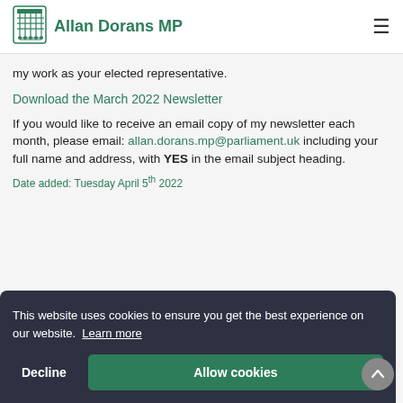Allan Dorans MP
my work as your elected representative.
Download the March 2022 Newsletter
If you would like to receive an email copy of my newsletter each month, please email: allan.dorans.mp@parliament.uk including your full name and address, with YES in the email subject heading.
Date added: Tuesday April 5th 2022
This website uses cookies to ensure you get the best experience on our website. Learn more
Decline
Allow cookies